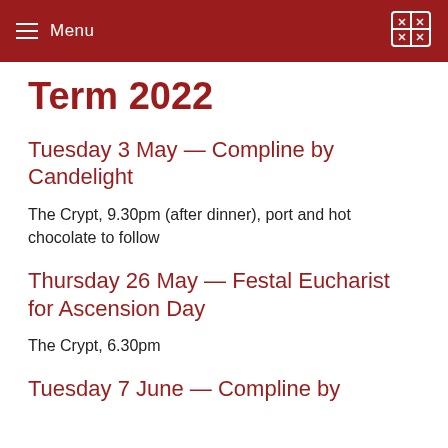Menu
Term 2022
Tuesday 3 May — Compline by Candelight
The Crypt, 9.30pm (after dinner), port and hot chocolate to follow
Thursday 26 May — Festal Eucharist for Ascension Day
The Crypt, 6.30pm
Tuesday 7 June — Compline by